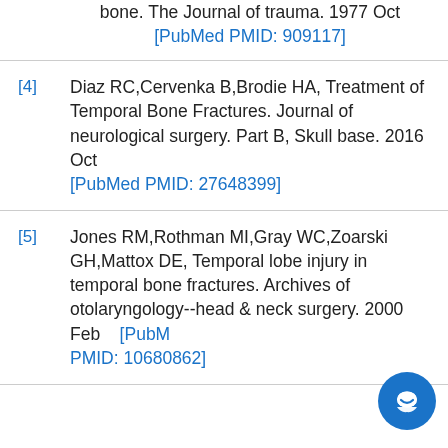bone. The Journal of trauma. 1977 Oct [PubMed PMID: 909117]
[4] Diaz RC,Cervenka B,Brodie HA, Treatment of Temporal Bone Fractures. Journal of neurological surgery. Part B, Skull base. 2016 Oct [PubMed PMID: 27648399]
[5] Jones RM,Rothman MI,Gray WC,Zoarski GH,Mattox DE, Temporal lobe injury in temporal bone fractures. Archives of otolaryngology--head & neck surgery. 2000 Feb [PubMed PMID: 10680862]